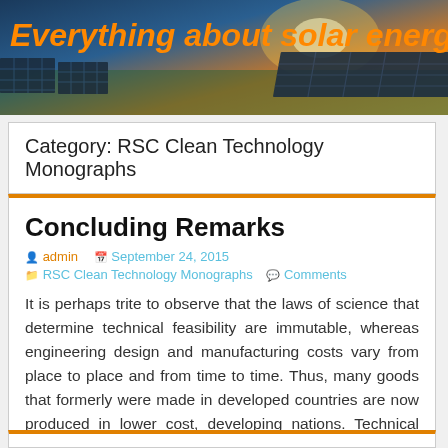[Figure (illustration): Website banner for 'Everything about solar energy' with solar panels and sunset sky background, orange bold italic title text]
Everything about solar energy
Category: RSC Clean Technology Monographs
Concluding Remarks
admin   September 24, 2015   RSC Clean Technology Monographs   Comments
It is perhaps trite to observe that the laws of science that determine technical feasibility are immutable, whereas engineering design and manufacturing costs vary from place to place and from time to time. Thus, many goods that formerly were made in developed countries are now produced in lower cost, developing nations. Technical feasibility is, however, [...]